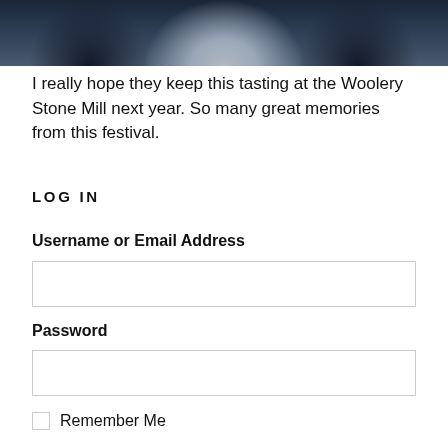[Figure (photo): Partial photo of people standing together, cropped at top of page, dark clothing with one person in gray/white textured sweater, dark background]
I really hope they keep this tasting at the Woolery Stone Mill next year. So many great memories from this festival.
LOG IN
Username or Email Address
Password
Remember Me